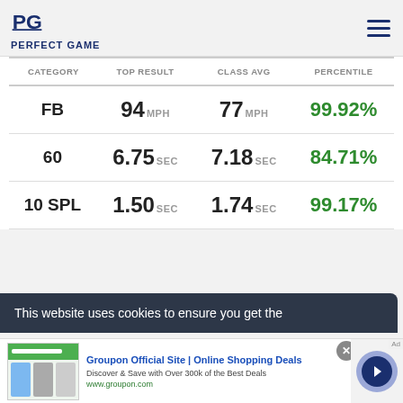PERFECT GAME
| CATEGORY | TOP RESULT | CLASS AVG | PERCENTILE |
| --- | --- | --- | --- |
| FB | 94 MPH | 77 MPH | 99.92% |
| 60 | 6.75 SEC | 7.18 SEC | 84.71% |
| 10 SPL | 1.50 SEC | 1.74 SEC | 99.17% |
This website uses cookies to ensure you get the
Groupon Official Site | Online Shopping Deals
Discover & Save with Over 300k of the Best Deals
www.groupon.com